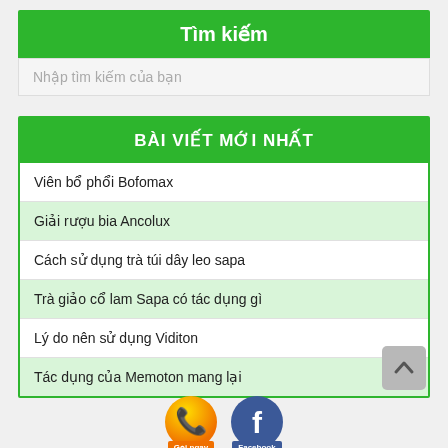Tìm kiếm
Nhập tìm kiếm của bạn
BÀI VIẾT MỚI NHẤT
Viên bổ phổi Bofomax
Giải rượu bia Ancolux
Cách sử dụng trà túi dây leo sapa
Trà giảo cổ lam Sapa có tác dụng gì
Lý do nên sử dụng Viditon
Tác dụng của Memoton mang lại